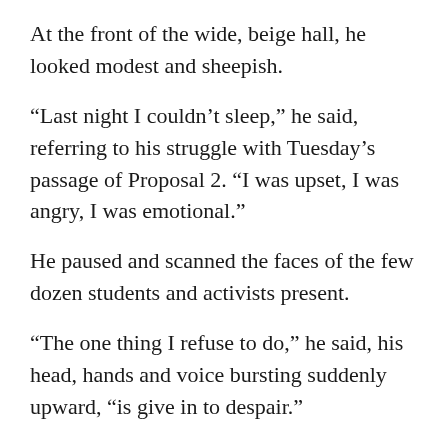At the front of the wide, beige hall, he looked modest and sheepish.
“Last night I couldn’t sleep,” he said, referring to his struggle with Tuesday’s passage of Proposal 2. “I was upset, I was angry, I was emotional.”
He paused and scanned the faces of the few dozen students and activists present.
“The one thing I refuse to do,” he said, his head, hands and voice bursting suddenly upward, “is give in to despair.”
The MESA-sponsored Post-Election Recovery Day had just shifted gears. Trotter House –